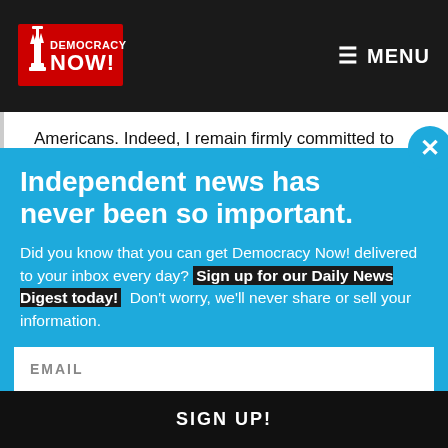Democracy Now! — MENU
Americans. Indeed, I remain firmly committed to
Independent news has never been so important.
Did you know that you can get Democracy Now! delivered to your inbox every day? Sign up for our Daily News Digest today! Don't worry, we'll never share or sell your information.
EMAIL
SIGN UP!